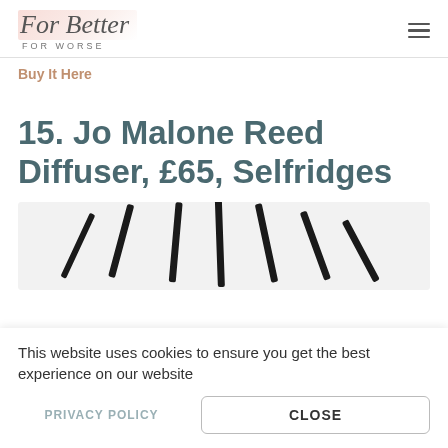For Better FOR WORSE
Buy It Here
15. Jo Malone Reed Diffuser, £65, Selfridges
[Figure (photo): Photo of Jo Malone reed diffuser black reeds fanned out against a light grey background]
This website uses cookies to ensure you get the best experience on our website
PRIVACY POLICY
CLOSE